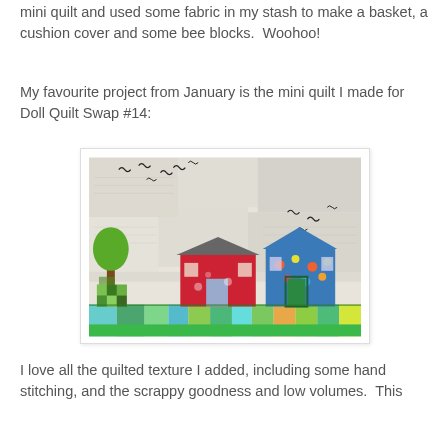mini quilt and used some fabric in my stash to make a basket, a cushion cover and some bee blocks.  Woohoo!
My favourite project from January is the mini quilt I made for Doll Quilt Swap #14:
[Figure (photo): A mini quilt featuring two patchwork houses with colourful fabric roofs and walls, green trees, birds flying in a sky made of light/white fabric, and a grass strip at the bottom made of green patchwork fabrics.]
I love all the quilted texture I added, including some hand stitching, and the scrappy goodness and low volumes.  This